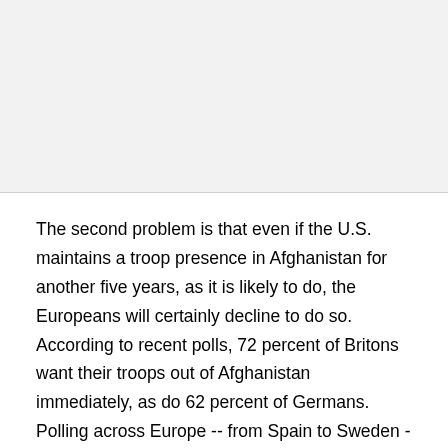The second problem is that even if the U.S. maintains a troop presence in Afghanistan for another five years, as it is likely to do, the Europeans will certainly decline to do so. According to recent polls, 72 percent of Britons want their troops out of Afghanistan immediately, as do 62 percent of Germans. Polling across Europe -- from Spain to Sweden -- shows that